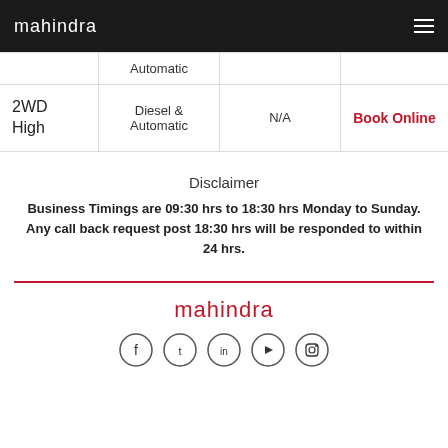mahindra
| Variant | Fuel Type | Price | Action |
| --- | --- | --- | --- |
|  | Automatic |  |  |
| 2WD High | Diesel & Automatic | N/A | Book Online |
Disclaimer
Business Timings are 09:30 hrs to 18:30 hrs Monday to Sunday. Any call back request post 18:30 hrs will be responded to within 24 hrs.
mahindra — social icons: Facebook, Twitter, LinkedIn, YouTube, Instagram